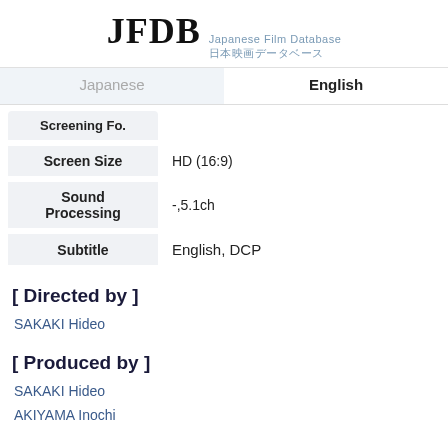JFDB Japanese Film Database 日本映画データベース
Japanese | English (tabs)
| Field | Value |
| --- | --- |
| Screening Fo... |  |
| Screen Size | HD (16:9) |
| Sound Processing | -,5.1ch |
| Subtitle | English, DCP |
[ Directed by ]
SAKAKI Hideo
[ Produced by ]
SAKAKI Hideo
AKIYAMA Inochi